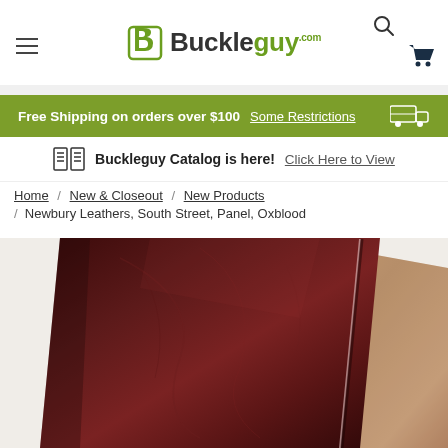Buckleguy.com header with logo, hamburger menu, search icon, and cart icon
Free Shipping on orders over $100  Some Restrictions
Buckleguy Catalog is here!  Click Here to View
Home / New & Closeout / New Products / Newbury Leathers, South Street, Panel, Oxblood
[Figure (photo): Product photo of Newbury Leathers South Street Panel in Oxblood color — dark burgundy/oxblood leather panel folded showing grain side (dark reddish-brown with subtle texture) on left, and suede/flesh side (tan/cork color) on right]